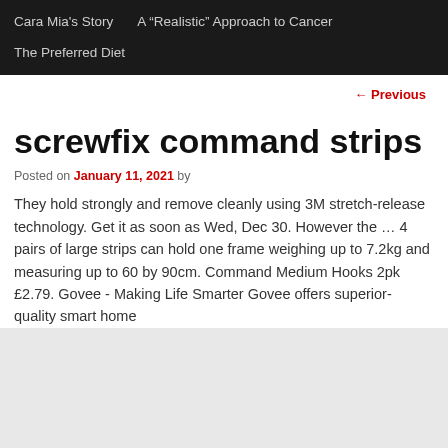Cara Mia's Story   A "Realistic" Approach to Cancer   The Preferred Diet
← Previous
screwfix command strips
Posted on January 11, 2021 by
They hold strongly and remove cleanly using 3M stretch-release technology. Get it as soon as Wed, Dec 30. However the … 4 pairs of large strips can hold one frame weighing up to 7.2kg and measuring up to 60 by 90cm. Command Medium Hooks 2pk £2.79. Govee - Making Life Smarter Govee offers superior-quality smart home